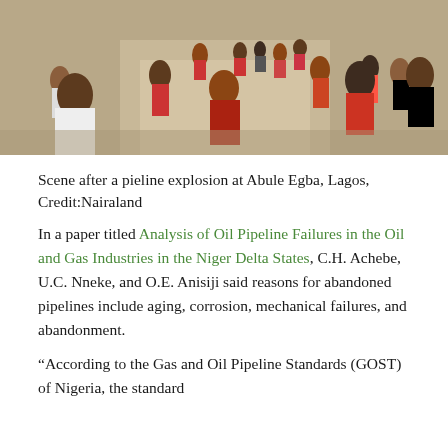[Figure (photo): Crowd of people walking on a road/street, scene after a pipeline explosion at Abule Egba, Lagos]
Scene after a pieline explosion at Abule Egba, Lagos, Credit:Nairaland
In a paper titled Analysis of Oil Pipeline Failures in the Oil and Gas Industries in the Niger Delta States, C.H. Achebe, U.C. Nneke, and O.E. Anisiji said reasons for abandoned pipelines include aging, corrosion, mechanical failures, and abandonment.
“According to the Gas and Oil Pipeline Standards (GOST) of Nigeria, the standard